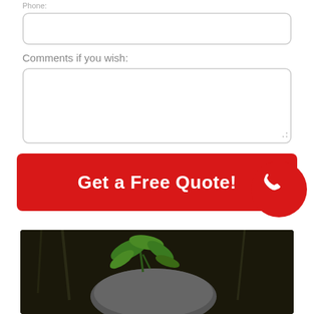Phone:
[Figure (screenshot): Empty text input box for phone number]
Comments if you wish:
[Figure (screenshot): Empty textarea for comments]
Get a Free Quote!
[Figure (illustration): Red circular phone call button with white phone icon]
[Figure (photo): Dark photo showing green plant leaves and a grey rounded rock in outdoor setting]